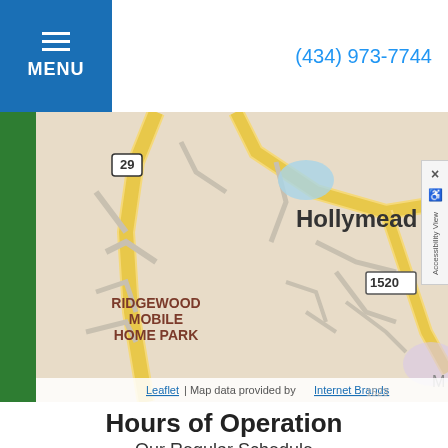MENU | (434) 973-7744
[Figure (map): Street map showing Ridgewood Mobile Home Park area near Hollymead, with Route 29 and road 1520 visible. Leaflet map with data provided by Internet Brands.]
Hours of Operation
Our Regular Schedule
Drs. Remington & Stover-Mejias